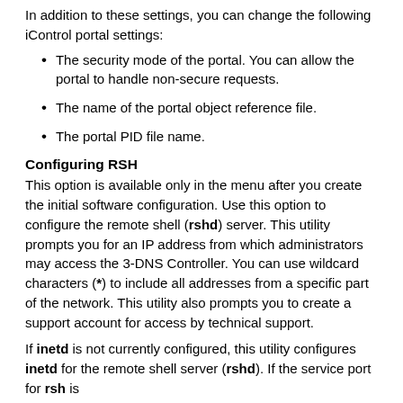In addition to these settings, you can change the following iControl portal settings:
The security mode of the portal. You can allow the portal to handle non-secure requests.
The name of the portal object reference file.
The portal PID file name.
Configuring RSH
This option is available only in the menu after you create the initial software configuration. Use this option to configure the remote shell (rshd) server. This utility prompts you for an IP address from which administrators may access the 3-DNS Controller. You can use wildcard characters (*) to include all addresses from a specific part of the network. This utility also prompts you to create a support account for access by technical support.
If inetd is not currently configured, this utility configures inetd for the remote shell server (rshd). If the service port for rsh is changed, this utility uses the service port to configure it.